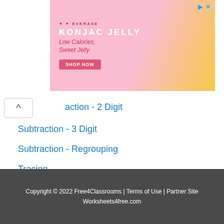[Figure (other): Pink advertisement banner for KONJAC JELLY by Everase – Low Calories, Sweet Jelly – with SHOP NOW button]
action - 2 Digit
Subtraction - 3 Digit
Subtraction - Regrouping
Tracing
Uncategorized
Writing
Copyright © 2022 Free4Classrooms | Terms of Use | Partner Site Worksheets4free.com